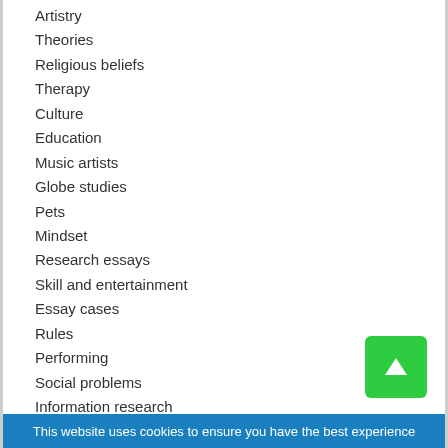Artistry
Theories
Religious beliefs
Therapy
Culture
Education
Music artists
Globe studies
Pets
Mindset
Research essays
Skill and entertainment
Essay cases
Rules
Performing
Social problems
Information research
Arts
Marketing communications
Analysis documents
Religious beliefs and spiritual techniques
Family members
Scientific research
Food
This website uses cookies to ensure you have the best experience